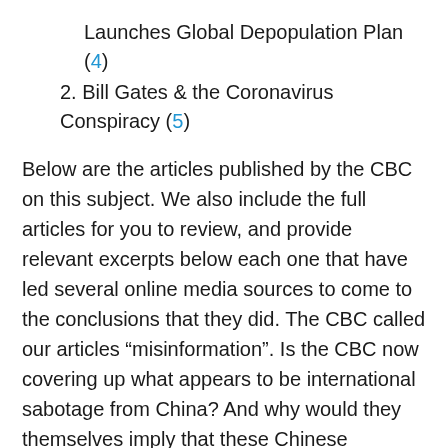Launches Global Depopulation Plan (4)
2. Bill Gates & the Coronavirus Conspiracy (5)
Below are the articles published by the CBC on this subject. We also include the full articles for you to review, and provide relevant excerpts below each one that have led several online media sources to come to the conclusions that they did. The CBC called our articles “misinformation”. Is the CBC now covering up what appears to be international sabotage from China? And why would they themselves imply that these Chinese Scientists were complicit? Why was there an RCMP investigation in the first place if this was innocent? And why the cover up? You be the Judge. As far as we are concerned CBC is “Fake News…. Really,